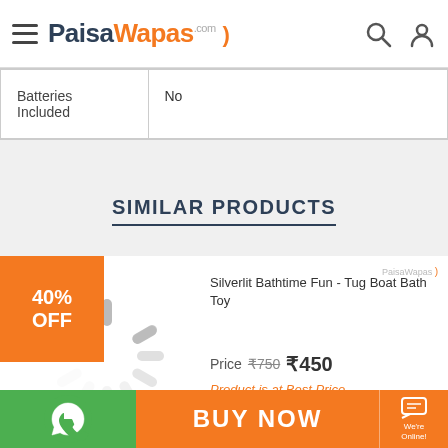PaisaWapas.com
| Batteries Included | No |
| --- | --- |
| Batteries Included | No |
SIMILAR PRODUCTS
[Figure (screenshot): Product card for Silverlit Bathtime Fun - Tug Boat Bath Toy with 40% OFF badge, loading spinner image, price ₹750 crossed out and ₹450, and 'Product is at Best Price' text]
Silverlit Bathtime Fun - Tug Boat Bath Toy
Price  ₹750  ₹450
Product is at Best Price
BUY NOW